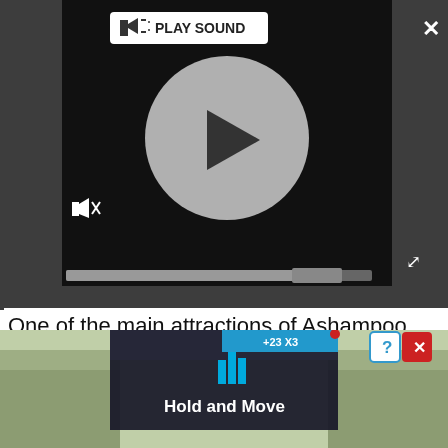[Figure (screenshot): Video player UI with dark grey background, play button circle, PLAY SOUND label, mute icon, and progress bar]
One of the main attractions of Ashampoo Photo Optimizer 2019 is the ‘Auto Optimize’ button, which analyzes a single picture (unlike some of the software’s other tools, it can’t be used for batch editing) and applies one or more changes to improve its sharpness, color and brightness. It’s an interesting idea and works particularly well for landscapes, but we found that it sometimes raised the brightness a little too far for other subjects, resulting in images
[Figure (screenshot): Advertisement banner showing 'Hold and Move' app with dark overlay, trees in background, question mark and close buttons]